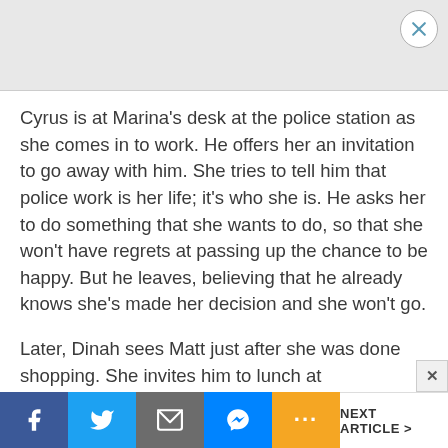[Figure (other): Gray advertisement banner with a circular close (X) button in the top-right corner]
Cyrus is at Marina's desk at the police station as she comes in to work. He offers her an invitation to go away with him. She tries to tell him that police work is her life; it's who she is. He asks her to do something that she wants to do, so that she won't have regrets at passing up the chance to be happy. But he leaves, believing that he already knows she's made her decision and she won't go.
Later, Dinah sees Matt just after she was done shopping. She invites him to lunch at
NEXT ARTICLE >